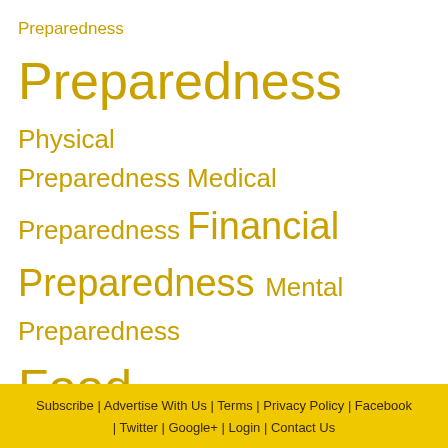[Figure (infographic): Tag cloud with preparedness-related terms in varying sizes, all in golden/amber color: Preparedness (small), Preparedness (large), Physical Preparedness (medium), Medical Preparedness (medium), Financial Preparedness (large), Mental Preparedness (medium), Food Preparedness (extra large)]
More
Article Archives
- Choose -  Go
Subscribe | Advertise With Us | Terms | Privacy Policy | Facebook | Twitter | Google+ | Login | Contact Us